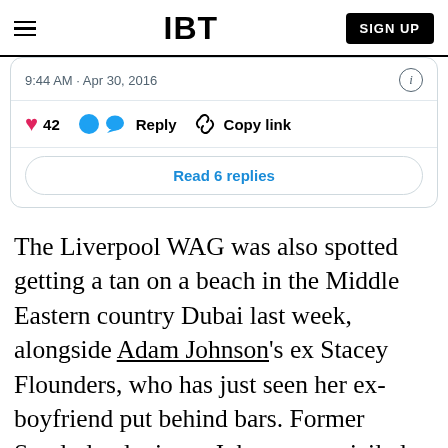IBT | SIGN UP
[Figure (screenshot): Embedded tweet card showing timestamp 9:44 AM · Apr 30, 2016, with 42 likes, Reply, Copy link actions, and a Read 6 replies button]
The Liverpool WAG was also spotted getting a tan on a beach in the Middle Eastern country Dubai last week, alongside Adam Johnson's ex Stacey Flounders, who has just seen her ex-boyfriend put behind bars. Former Sunderland winger Johnson was jailed for six years in March after being convicted of child grooming and sexual activity